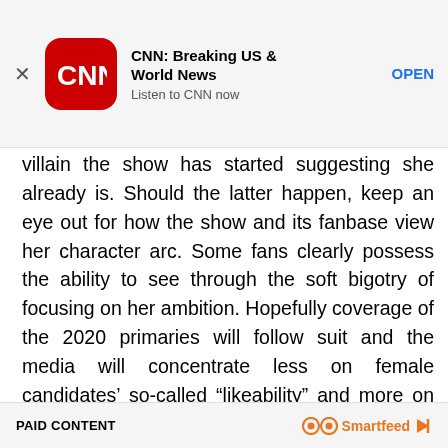[Figure (screenshot): CNN app advertisement banner with CNN logo (red rounded square), bold title 'CNN: Breaking US & World News', subtitle 'Listen to CNN now', and blue 'OPEN' button. X close button on the left.]
villain the show has started suggesting she already is. Should the latter happen, keep an eye out for how the show and its fanbase view her character arc. Some fans clearly possess the ability to see through the soft bigotry of focusing on her ambition. Hopefully coverage of the 2020 primaries will follow suit and the media will concentrate less on female candidates’ so-called “likeability” and more on their political effectiveness.
PAID CONTENT   Smartfeed